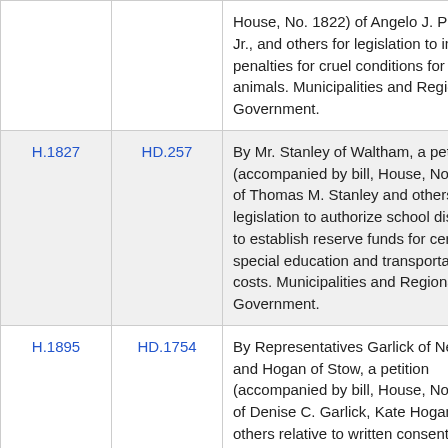| Bill | HD | Description |
| --- | --- | --- |
|  |  | House, No. 1822) of Angelo J. Puppolo, Jr., and others for legislation to impose penalties for cruel conditions for animals. Municipalities and Regional Government. |
| H.1827 | HD.257 | By Mr. Stanley of Waltham, a petition (accompanied by bill, House, No. 1827) of Thomas M. Stanley and others for legislation to authorize school districts to establish reserve funds for certain special education and transportation costs. Municipalities and Regional Government. |
| H.1895 | HD.1754 | By Representatives Garlick of Needham and Hogan of Stow, a petition (accompanied by bill, House, No. 1895) of Denise C. Garlick, Kate Hogan and others relative to written consent for |